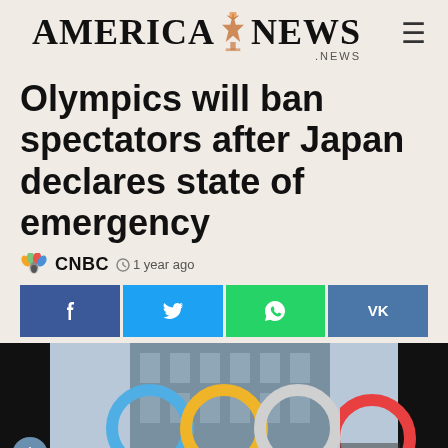AMERICA NEWS .NEWS
Olympics will ban spectators after Japan declares state of emergency
CNBC · 1 year ago
[Figure (screenshot): Social sharing buttons row: Facebook, Twitter, WhatsApp, VK]
[Figure (photo): Photo of Olympic rings sculpture in front of a modern glass building]